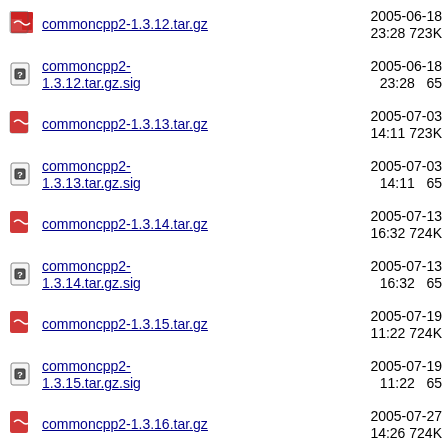commoncpp2-1.3.12.tar.gz  2005-06-18 23:28  723K
commoncpp2-1.3.12.tar.gz.sig  2005-06-18 23:28  65
commoncpp2-1.3.13.tar.gz  2005-07-03 14:11  723K
commoncpp2-1.3.13.tar.gz.sig  2005-07-03 14:11  65
commoncpp2-1.3.14.tar.gz  2005-07-13 16:32  724K
commoncpp2-1.3.14.tar.gz.sig  2005-07-13 16:32  65
commoncpp2-1.3.15.tar.gz  2005-07-19 11:22  724K
commoncpp2-1.3.15.tar.gz.sig  2005-07-19 11:22  65
commoncpp2-1.3.16.tar.gz  2005-07-27 14:26  724K
commoncpp2-1.3.16.tar.gz.sig  2005-07-27 14:26  64
commoncpp2-1.3.17.tar.gz  2005-08-09 13:06  813K
commoncpp2-  2005-08-09